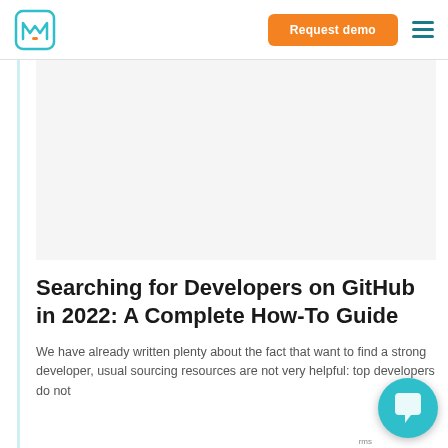Request demo
[Figure (logo): Mustard/teal M-shaped logo mark icon]
Searching for Developers on GitHub in 2022: A Complete How-To Guide
We have already written plenty about the fact that want to find a strong developer, usual sourcing resources are not very helpful: top developers do not